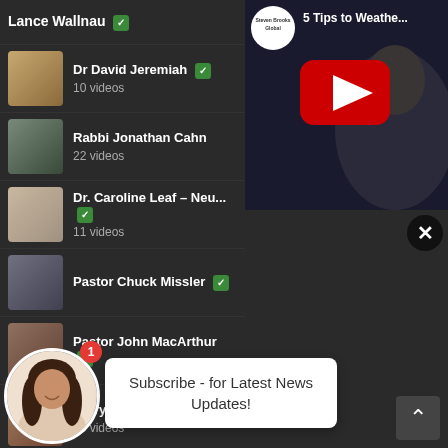Lance Wallnau ✓
Dr David Jeremiah ✓ — 10 videos
Rabbi Jonathan Cahn — 22 videos
Dr. Caroline Leaf – Neu... — 11 videos
Pastor Chuck Missler ✓
Pastor John MacArthur ✓
Perry Stone ✓ — 10 videos
Dr. Tony Evans ✓ — 24 videos
Sid Roth – It's Supernatural ✓
[Figure (screenshot): YouTube video thumbnail showing '5 Tips to Weathe...' with red play button]
Subscribe - for Latest News Updates!